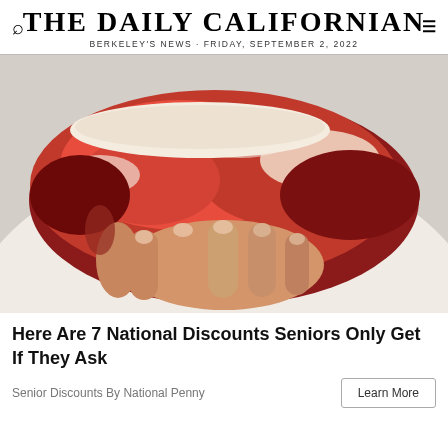THE DAILY CALIFORNIAN
BERKELEY'S NEWS · FRIDAY, SEPTEMBER 2, 2022
[Figure (photo): A hand holding up a large raw cut of beef/steak, wearing a white chef's coat or butcher's coat in the background]
Here Are 7 National Discounts Seniors Only Get If They Ask
Senior Discounts By National Penny
Learn More